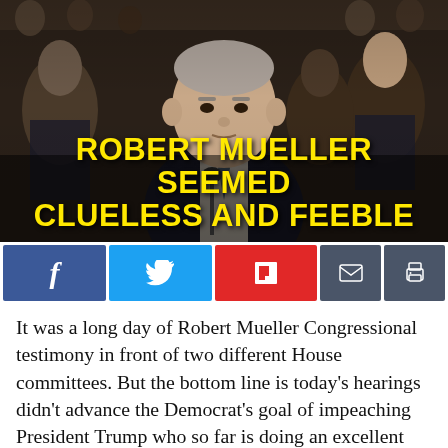[Figure (photo): Robert Mueller seated at a congressional hearing, other figures visible in background, with bold yellow text overlay reading 'ROBERT MUELLER SEEMED CLUELESS AND FEEBLE']
[Figure (infographic): Social sharing buttons: Facebook (blue), Twitter (light blue), Flipboard (red), Email (dark gray), Print (dark gray)]
It was a long day of Robert Mueller Congressional testimony in front of two different House committees. But the bottom line is today's hearings didn't advance the Democrat's goal of impeaching President Trump who so far is doing an excellent job in the oval office.